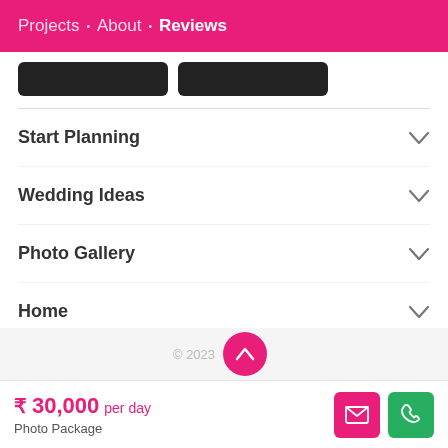Projects · About · Reviews
Start Planning
Wedding Ideas
Photo Gallery
Home
Wedding Invitation Maker
₹ 30,000 per day
Photo Package